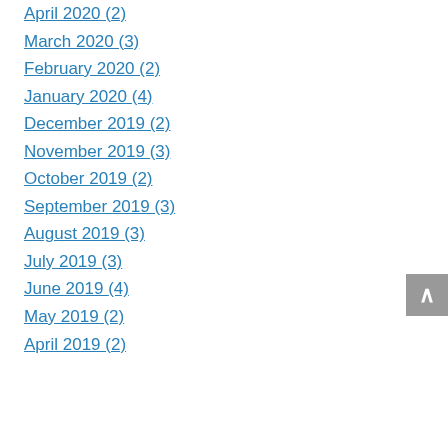April 2020 (2)
March 2020 (3)
February 2020 (2)
January 2020 (4)
December 2019 (2)
November 2019 (3)
October 2019 (2)
September 2019 (3)
August 2019 (3)
July 2019 (3)
June 2019 (4)
May 2019 (2)
April 2019 (2)